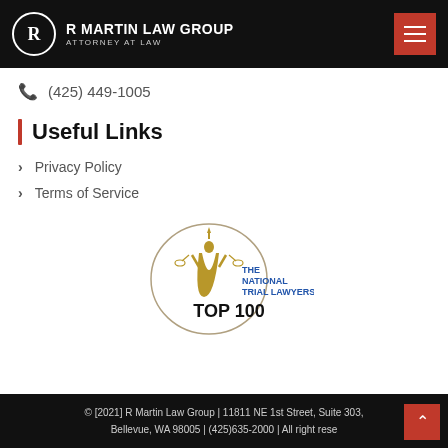R MARTIN LAW GROUP — ATTORNEY AT LAW
(425) 449-1005
Useful Links
Privacy Policy
Terms of Service
[Figure (logo): The National Trial Lawyers Top 100 badge — circular emblem with Lady Justice figure, text in blue and gold]
© [2021] R Martin Law Group | 11811 NE 1st Street, Suite 303, Bellevue, WA 98005 | (425)635-2000 | All right rese